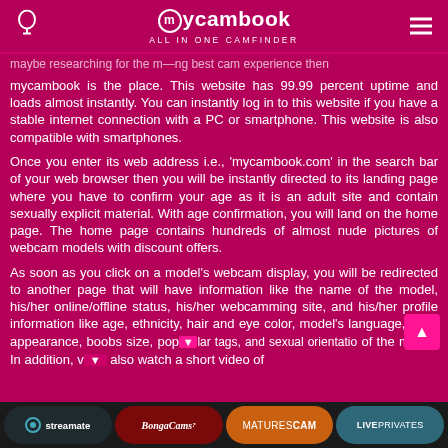mycambook ALL IN ONE CAMFINDER
mycambook is the place. This website has 99.99 percent uptime and loads almost instantly. You can instantly log in to this website if you have a stable internet connection with a PC or smartphone. This website is also compatible with smartphones.
Once you enter its web address i.e., 'mycambook.com' in the search bar of your web browser then you will be instantly directed to its landing page where you have to confirm your age as it is an adult site and contain sexually explicit material. With age confirmation, you will land on the home page. The home page contains hundreds of almost nude pictures of webcam models with discount offers.
As soon as you click on a model's webcam display, you will be redirected to another page that will have information like the name of the model, his/her online/offline status, his/her webcamming site, and his/her profile information like age, ethnicity, hair and eye color, model's language, body appearance, boobs size, popular tags, and sexual orientation of the model. In addition, you also watch a short video of
streamate | BongaCams | MATURESCAM | LIVEPRIVATES